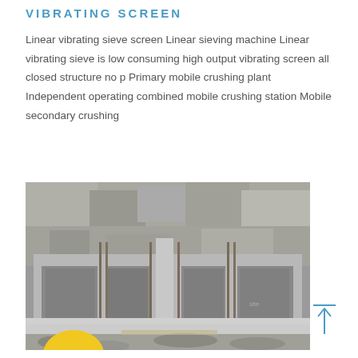VIBRATING SCREEN
Linear vibrating sieve screen Linear sieving machine Linear vibrating sieve is low consuming high output vibrating screen all closed structure no p Primary mobile crushing plant Independent operating combined mobile crushing station Mobile secondary crushing
[Figure (photo): Construction site photo showing a concrete structure under construction with scaffolding and formwork, set against a rocky cliff face background. Debris visible in foreground.]
[Figure (other): Navigation arrow icon pointing upward with a horizontal line above it, in blue color, positioned at bottom right of page.]